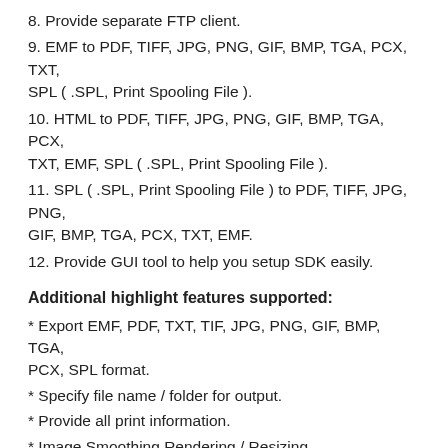8. Provide separate FTP client.
9. EMF to PDF, TIFF, JPG, PNG, GIF, BMP, TGA, PCX, TXT, SPL ( .SPL, Print Spooling File ).
10. HTML to PDF, TIFF, JPG, PNG, GIF, BMP, TGA, PCX, TXT, EMF, SPL ( .SPL, Print Spooling File ).
11. SPL ( .SPL, Print Spooling File ) to PDF, TIFF, JPG, PNG, GIF, BMP, TGA, PCX, TXT, EMF.
12. Provide GUI tool to help you setup SDK easily.
Additional highlight features supported:
* Export EMF, PDF, TXT, TIF, JPG, PNG, GIF, BMP, TGA, PCX, SPL format.
* Specify file name / folder for output.
* Provide all print information.
* Image Smoothing Rendering / Resizing.
* Support Bits Per Pixel, Compression, Dithering for creating graph files.
* Keep layout formatting possible for TXT output.